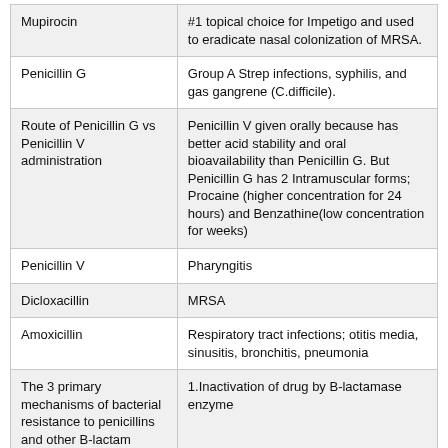| Mupirocin | #1 topical choice for Impetigo and used to eradicate nasal colonization of MRSA. |
| Penicillin G | Group A Strep infections, syphilis, and gas gangrene (C.difficile). |
| Route of Penicillin G vs Penicillin V administration | Penicillin V given orally because has better acid stability and oral bioavailability than Penicillin G. But Penicillin G has 2 Intramuscular forms; Procaine (higher concentration for 24 hours) and Benzathine(low concentration for weeks) |
| Penicillin V | Pharyngitis |
| Dicloxacillin | MRSA |
| Amoxicillin | Respiratory tract infections; otitis media, sinusitis, bronchitis, pneumonia |
| The 3 primary mechanisms of bacterial resistance to penicillins and other B-lactam antibiotics | 1.Inactivation of drug by B-lactamase enzyme |